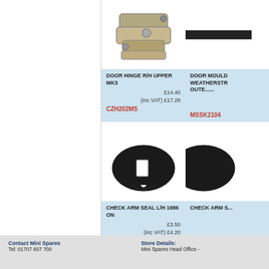[Figure (photo): Door hinge R/H Upper MK3 - metal hinge product photo]
[Figure (photo): Door moulding weatherstrip outer - partial product photo]
DOOR HINGE R/H UPPER MK3
£14.40
(inc VAT) £17.28
CZH202MS
DOOR MOULD... WEATHERSTR... OUTE......
MSSK2104
[Figure (photo): Check arm seal L/H 1986 on - black rubber seal product photo]
[Figure (photo): Check arm seal R/H - black rubber seal product photo, partially cropped]
CHECK ARM SEAL L/H 1986 ON
£3.50
(inc VAT) £4.20
CGE10039
CHECK ARM S...
CGE10038
Contact Mini Spares
Tel: 01707 607 700
Store Details:
Mini Spares Head Office -